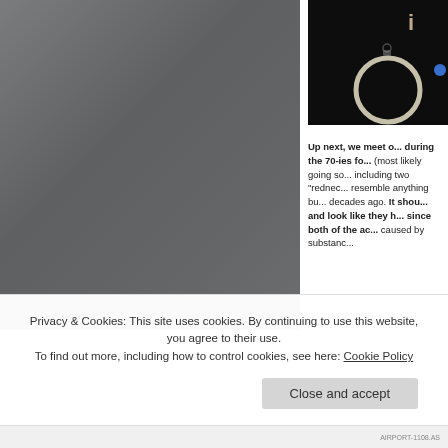[Figure (photo): Grey torn paper / texture photograph on the left side of the page]
[Figure (photo): Dark nighttime photograph showing a luminous ring/circle shape with number 1 visible, top right of page]
Up next, we meet o... during the 70-ies fo... (most likely going so... including two “rednec... resemble anything bu... decades ago. It shou... and look like they h... since both of the ac... caused by substand...
Privacy & Cookies: This site uses cookies. By continuing to use this website, you agree to their use.
To find out more, including how to control cookies, see here: Cookie Policy
Close and accept
AIRPORT-1108.AS